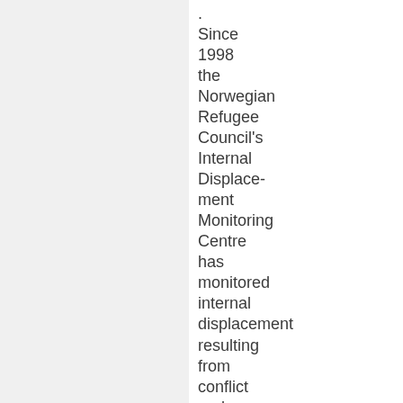. Since 1998 the Norwegian Refugee Council's Internal Displacement Monitoring Centre has monitored internal displacement resulting from conflict and violence. During this